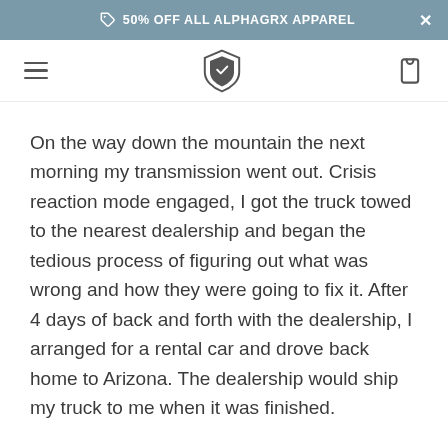50% OFF ALL ALPHAGRX APPAREL
[Figure (logo): AlphaGRX shield logo with hamburger menu and cart icon navigation bar]
On the way down the mountain the next morning my transmission went out. Crisis reaction mode engaged, I got the truck towed to the nearest dealership and began the tedious process of figuring out what was wrong and how they were going to fix it. After 4 days of back and forth with the dealership, I arranged for a rental car and drove back home to Arizona. The dealership would ship my truck to me when it was finished.
I had every right to be angry and frustrated at my current situation. I could feel the PTSD demons